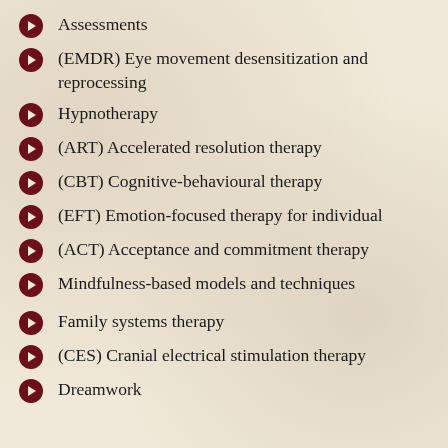Assessments
(EMDR) Eye movement desensitization and reprocessing
Hypnotherapy
(ART) Accelerated resolution therapy
(CBT) Cognitive-behavioural therapy
(EFT) Emotion-focused therapy for individual
(ACT) Acceptance and commitment therapy
Mindfulness-based models and techniques
Family systems therapy
(CES) Cranial electrical stimulation therapy
Dreamwork